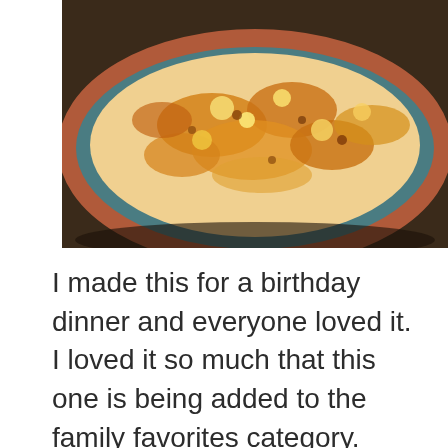[Figure (photo): Close-up photo of a baked mac and cheese or gratin dish in a teal/turquoise ceramic baking dish with a terracotta-colored rim, showing a golden-brown cheesy bubbly top, photographed from above at an angle.]
I made this for a birthday dinner and everyone loved it. I loved it so much that this one is being added to the family favorites category. Many thanks to Creole Contessa for this recipe. I tweaked it just barely, subbing red onion for her shallots...